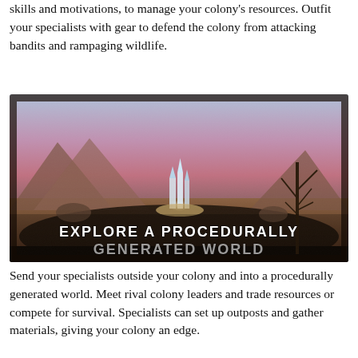skills and motivations, to manage your colony's resources. Outfit your specialists with gear to defend the colony from attacking bandits and rampaging wildlife.
[Figure (illustration): Fantasy landscape with pink/purple sky, glowing crystal structure in distance, dead trees on right, mountains in background. Overlay text reads: EXPLORE A PROCEDURALLY GENERATED WORLD]
Send your specialists outside your colony and into a procedurally generated world. Meet rival colony leaders and trade resources or compete for survival. Specialists can set up outposts and gather materials, giving your colony an edge.
[Figure (illustration): Partial view of another scene with figures on a platform/structure against a light sky — bottom of page, cropped.]